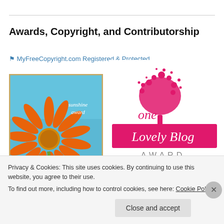Awards, Copyright, and Contributorship
MyFreeCopyright.com Registered & Protected
[Figure (photo): Sunshine Award badge with orange flower on blue sky background and text 'sunshine award']
[Figure (logo): One Lovely Blog Award logo with pink tree and pink banner text]
Privacy & Cookies: This site uses cookies. By continuing to use this website, you agree to their use.
To find out more, including how to control cookies, see here: Cookie Policy